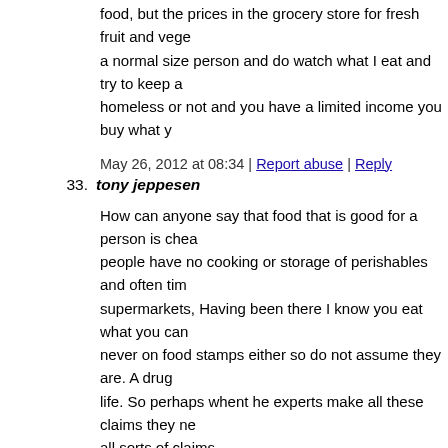food, but the prices in the grocery store for fresh fruit and vege a normal size person and do watch what I eat and try to keep a homeless or not and you have a limited income you buy what y
May 26, 2012 at 08:34 | Report abuse | Reply
33. tony jeppesen
How can anyone say that food that is good for a person is chea people have no cooking or storage of perishables and often tim supermarkets, Having been there I know you eat what you can never on food stamps either so do not assume they are. A drug life. So perhaps whent he experts make all these claims they ne all sorts of claims.
May 26, 2012 at 10:57 | Report abuse | Reply
34. Sheila
"Even if they had fresh vegetables and fruits, they have to way them."
Does anyone edit articles anymore?
May 26, 2012 at 11:00 | Report abuse | Reply
35. tony jeppesen
when I could get two dollars I would buy a pack of bologna an